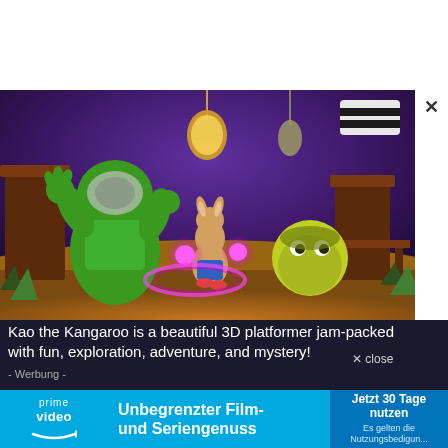[Figure (screenshot): Colorful 3D platformer game screenshot showing cartoon characters: a large green creature in a floral shirt, a kangaroo character with glowing pink energy orbs, and a yellow-green round creature, in a fantasy environment with purple atmosphere, wooden structures, hanging lanterns and objects.]
Kao the Kangaroo is a beautiful 3D platformer jam-packed with fun, exploration, adventure, and mystery!
× close
- Werbung -
[Figure (logo): Amazon Prime Video advertisement banner. Left: prime video logo with arrow icon. Middle: 'Unbegrenzter Film- und Seriengenuss'. Right blue button: 'Jetzt 30 Tage nutzen' with small text 'Es gelten die Nutzungsbedigun...']